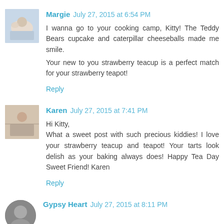Margie July 27, 2015 at 6:54 PM
I wanna go to your cooking camp, Kitty! The Teddy Bears cupcake and caterpillar cheeseballs made me smile.

Your new to you strawberry teacup is a perfect match for your strawberry teapot!
Reply
Karen July 27, 2015 at 7:41 PM
Hi Kitty,
What a sweet post with such precious kiddies! I love your strawberry teacup and teapot! Your tarts look delish as your baking always does! Happy Tea Day Sweet Friend! Karen
Reply
Gypsy Heart July 27, 2015 at 8:11 PM